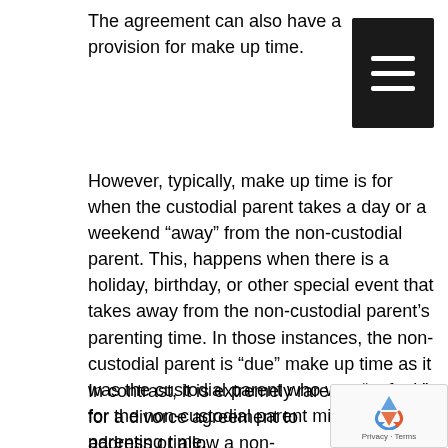The agreement can also have a provision for make up time.
[Figure (other): Hamburger menu button icon (three horizontal white lines on black background)]
However, typically, make up time is for when the custodial parent takes a day or a weekend “away” from the non-custodial parent. This, happens when there is a holiday, birthday, or other special event that takes away from the non-custodial parent’s parenting time. In those instances, the non-custodial parent is “due” make up time as it was the custodial parent who was “at fault” for the non-custodial parent missing parenting time.
In contrast, it is extremely rare for a divorce agreement to address or allow a non-custodial parent make up time for when the non-custodial misses time due to the non-custodial parent’s
[Figure (logo): reCAPTCHA badge with recycling arrows logo and 'Privacy - Terms' text]